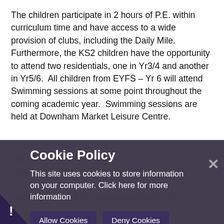The children participate in 2 hours of P.E. within curriculum time and have access to a wide provision of clubs, including the Daily Mile. Furthermore, the KS2 children have the opportunity to attend two residentials, one in Yr3/4 and another in Yr5/6.  All children from EYFS – Yr 6 will attend Swimming sessions at some point throughout the coming academic year.  Swimming sessions are held at Downham Market Leisure Centre.
In reco... (obscured by overlay) ...n promot... physical... the school and the local community, we have been ...de... ...ousing the schools provision of sport. The
[Figure (screenshot): Cookie Policy modal overlay on dark semi-transparent background. Title: 'Cookie Policy'. Body text: 'This site uses cookies to store information on your computer. Click here for more information'. Two buttons: 'Allow Cookies' and 'Deny Cookies'. Close X button on right. Exclamation mark icon and purple triangle in bottom-left corner.]